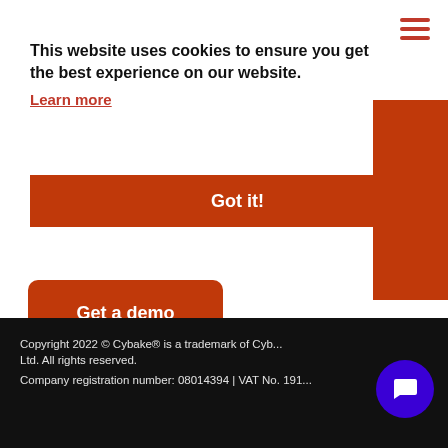[Figure (other): Hamburger menu icon (three horizontal red lines) in top right corner]
This website uses cookies to ensure you get the best experience on our website.
Learn more
Got it!
[Figure (other): Orange/red rectangular block on right edge of page]
Get a demo
Copyright 2022 © Cybake® is a trademark of Cyb... Ltd. All rights reserved.
Company registration number: 08014394 | VAT No. 191...